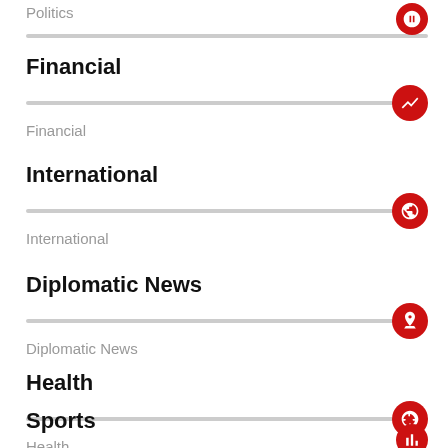Politics
Financial
Financial
International
International
Diplomatic News
Diplomatic News
Health
Health
Sports